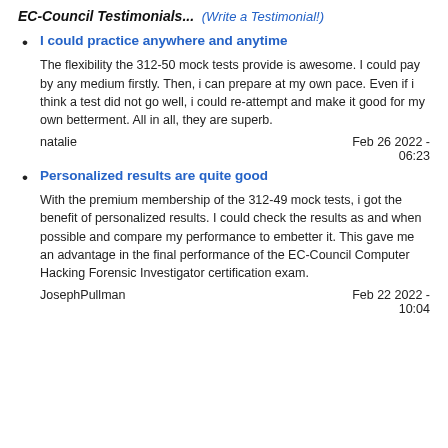EC-Council Testimonials... (Write a Testimonial!)
I could practice anywhere and anytime
The flexibility the 312-50 mock tests provide is awesome. I could pay by any medium firstly. Then, i can prepare at my own pace. Even if i think a test did not go well, i could re-attempt and make it good for my own betterment. All in all, they are superb.
natalie                                              Feb 26 2022 - 06:23
Personalized results are quite good
With the premium membership of the 312-49 mock tests, i got the benefit of personalized results. I could check the results as and when possible and compare my performance to embetter it. This gave me an advantage in the final performance of the EC-Council Computer Hacking Forensic Investigator certification exam.
JosephPullman                                        Feb 22 2022 - 10:04